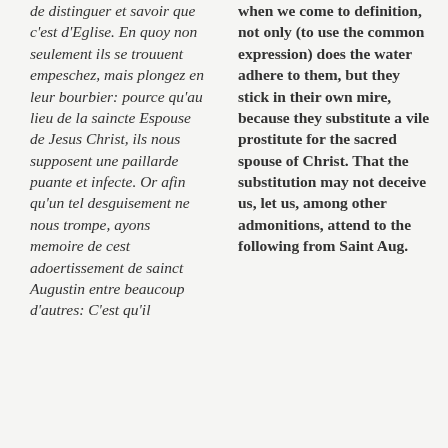de distinguer et savoir que c'est d'Eglise. En quoy non seulement ils se trouuent empeschez, mais plongez en leur bourbier: pource qu'au lieu de la saincte Espouse de Jesus Christ, ils nous supposent une paillarde puante et infecte. Or afin qu'un tel desguisement ne nous trompe, ayons memoire de cest adoertissement de sainct Augustin entre beaucoup d'autres: C'est qu'il
when we come to definition, not only (to use the common expression) does the water adhere to them, but they stick in their own mire, because they substitute a vile prostitute for the sacred spouse of Christ. That the substitution may not deceive us, let us, among other admonitions, attend to the following from Saint Aug.